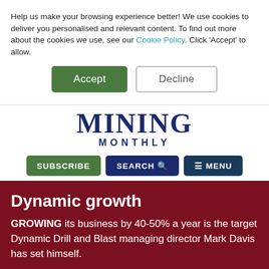Help us make your browsing experience better! We use cookies to deliver you personalised and relevant content. To find out more about the cookies we use, see our Cookie Policy. Click 'Accept' to allow.
Accept
Decline
MINING MONTHLY
SUBSCRIBE   SEARCH   ☰ MENU
Dynamic growth
GROWING its business by 40-50% a year is the target Dynamic Drill and Blast managing director Mark Davis has set himself.
[Figure (photo): Partial view of a dark blue mining-related photograph at the bottom of the page with an advertisement close button (X).]